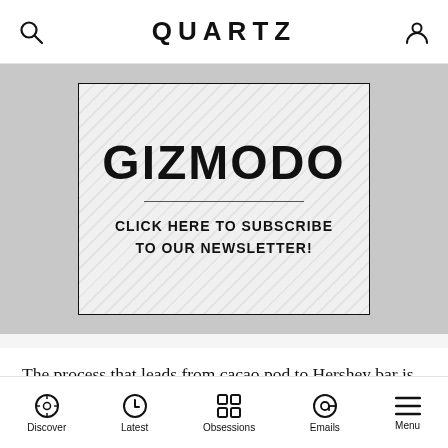QUARTZ
[Figure (other): Gizmodo newsletter subscription advertisement banner with diagonal stripe background, Gizmodo logo in bold black, horizontal divider line, and text 'CLICK HERE TO SUBSCRIBE TO OUR NEWSLETTER!']
The process that leads from cacao pod to Hershey bar is so complicated that it's hard to comprehend how anyone ever looked at a cacao tree and saw a delicious possibility.
Ripe cacao on a tree looks something like an elongated
Discover | Latest | Obsessions | Emails | Menu